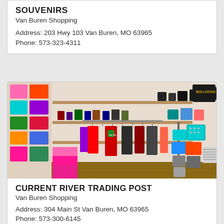SOUVENIRS
Van Buren Shopping
Address: 203 Hwy 103 Van Buren, MO 63965
Phone: 573-323-4311
[Figure (photo): Interior of a retail shop showing colorful merchandise including clothing on hangers, purses, bags, and accessories displayed on shelves and racks. A red Christmas t-shirt is prominently visible in the center.]
CURRENT RIVER TRADING POST
Van Buren Shopping
Address: 304 Main St Van Buren, MO 63965
Phone: 573-300-6145